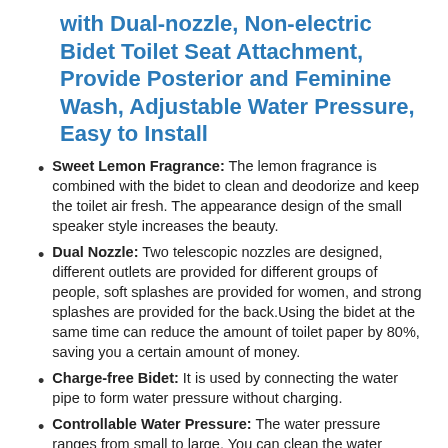with Dual-nozzle, Non-electric Bidet Toilet Seat Attachment, Provide Posterior and Feminine Wash, Adjustable Water Pressure, Easy to Install
Sweet Lemon Fragrance: The lemon fragrance is combined with the bidet to clean and deodorize and keep the toilet air fresh. The appearance design of the small speaker style increases the beauty.
Dual Nozzle: Two telescopic nozzles are designed, different outlets are provided for different groups of people, soft splashes are provided for women, and strong splashes are provided for the back.Using the bidet at the same time can reduce the amount of toilet paper by 80%, saving you a certain amount of money.
Charge-free Bidet: It is used by connecting the water pipe to form water pressure without charging.
Controllable Water Pressure: The water pressure ranges from small to large. You can clean the water